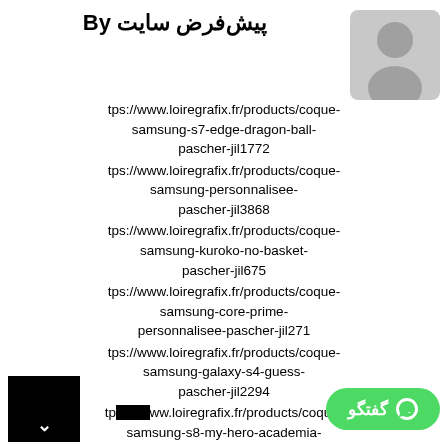By پیش‌فرض سایت
[Figure (illustration): Generic user avatar silhouette on grey background]
tps://www.loiregrafix.fr/products/coque-samsung-s7-edge-dragon-ball-pascher-jil1772
tps://www.loiregrafix.fr/products/coque-samsung-personnalisee-pascher-jil3868
tps://www.loiregrafix.fr/products/coque-samsung-kuroko-no-basket-pascher-jil675
tps://www.loiregrafix.fr/products/coque-samsung-core-prime-personnalisee-pascher-jil271
tps://www.loiregrafix.fr/products/coque-samsung-galaxy-s4-guess-pascher-jil2294
tp...ww.loiregrafix.fr/products/coque-samsung-s8-my-hero-academia-pascher-jil4305